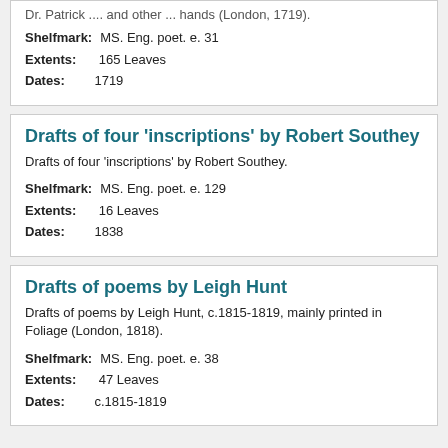Dr. Patrick ... and other ... hands (London, 1719).
Shelfmark: MS. Eng. poet. e. 31
Extents: 165 Leaves
Dates: 1719
Drafts of four 'inscriptions' by Robert Southey
Drafts of four 'inscriptions' by Robert Southey.
Shelfmark: MS. Eng. poet. e. 129
Extents: 16 Leaves
Dates: 1838
Drafts of poems by Leigh Hunt
Drafts of poems by Leigh Hunt, c.1815-1819, mainly printed in Foliage (London, 1818).
Shelfmark: MS. Eng. poet. e. 38
Extents: 47 Leaves
Dates: c.1815-1819